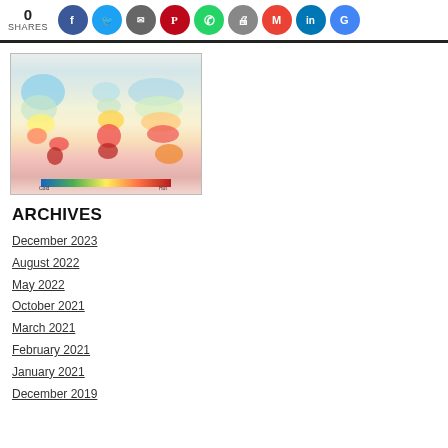0 SHARES
[Figure (map): World map showing temperature or climate zones with color gradient from blue (polar/cold regions) through yellow/green (temperate) to orange/red (tropical/hot regions). Includes a legend at the bottom.]
ARCHIVES
December 2023
August 2022
May 2022
October 2021
March 2021
February 2021
January 2021
December 2019